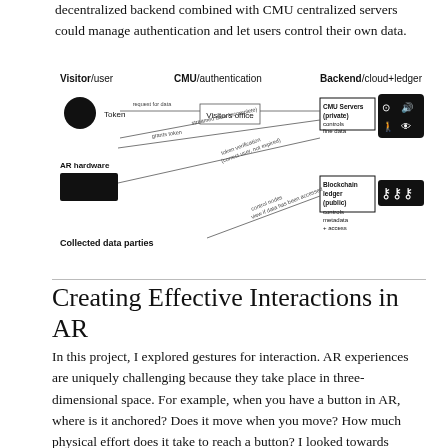decentralized backend combined with CMU centralized servers could manage authentication and let users control their own data.
[Figure (schematic): Architecture diagram showing three columns: Visitor/user (with Token and AR hardware), CMU/authentication (with Visitors office, CMU Servers private), Backend/cloud+ledger (with CMU Servers private controlling fine data, Blockchain ledger public controlling metadata + access). Arrows show: request for data, grants token, streamed data (incomplete), token verification (correct user, not expired), control nodes, view if data has been accessed. Collected data parties is shown at bottom left.]
Creating Effective Interactions in AR
In this project, I explored gestures for interaction. AR experiences are uniquely challenging because they take place in three-dimensional space. For example, when you have a button in AR, where is it anchored? Does it move when you move? How much physical effort does it take to reach a button? I looked towards interfaces like the